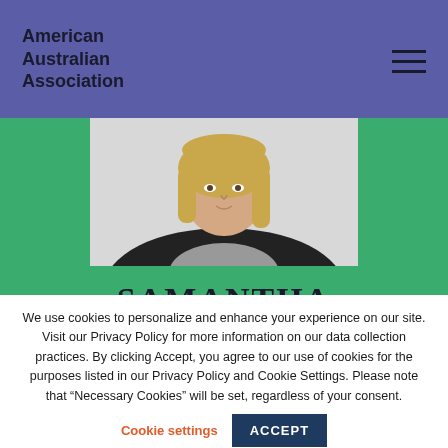American Australian Association
[Figure (photo): Profile photo of Samantha Schoen, a woman with blonde hair wearing a black blazer over a grey patterned top, photographed against a light background.]
SAMANTHA SCHOEN
We use cookies to personalize and enhance your experience on our site. Visit our Privacy Policy for more information on our data collection practices. By clicking Accept, you agree to our use of cookies for the purposes listed in our Privacy Policy and Cookie Settings. Please note that “Necessary Cookies” will be set, regardless of your consent.
Cookie settings  ACCEPT